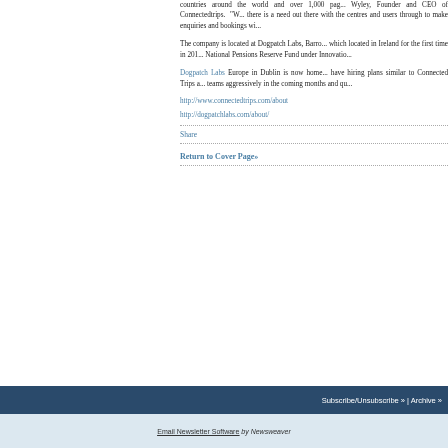countries around the world and over 1,000 pa... Wyley, Founder and CEO of Connectedtrips. "W... there is a need out there with the centres and... users through to make enquiries and bookings wi...
The company is located at Dogpatch Labs, Barro... which located in Ireland for the first time in 201... National Pensions Reserve Fund under Innovatio...
Dogpatch Labs Europe in Dublin is now home... have hiring plans similar to Connected Trips a... teams aggressively in the coming months and qu...
http://www.connectedtrips.com/about
http://dogpatchlabs.com/about/
Share
Return to Cover Page»
Subscribe/Unsubscribe » | Archive »
Email Newsletter Software by Newsweaver